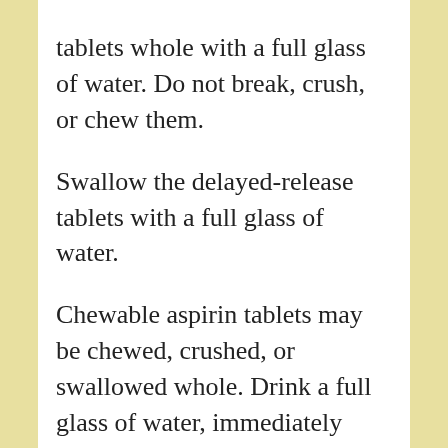tablets whole with a full glass of water. Do not break, crush, or chew them.
Swallow the delayed-release tablets with a full glass of water.
Chewable aspirin tablets may be chewed, crushed, or swallowed whole. Drink a full glass of water, immediately after taking these tablets.
Ask a doctor before you give aspirin to your child or teenager. Aspirin may cause Reye’s syndrome (a serious condition in which fat builds up on the brain, liver, and other